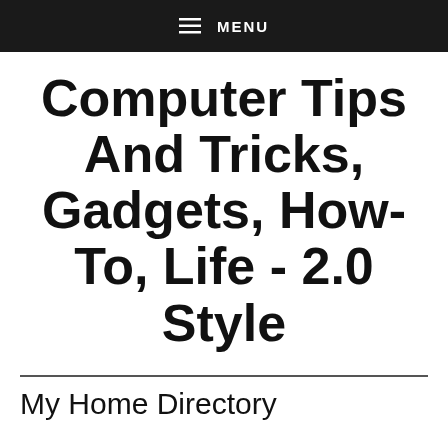≡ MENU
Computer Tips And Tricks, Gadgets, How-To, Life - 2.0 Style
My Home Directory